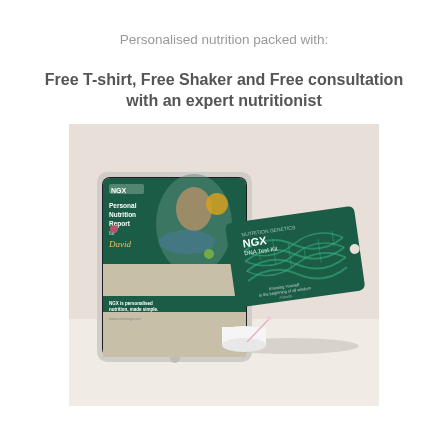Personalised nutrition packed with:
Free T-shirt, Free Shaker and Free consultation with an expert nutritionist
[Figure (photo): Product photo showing an iPad displaying an NGX Personal Nutrition Report for David, and an NGX DNA Test Kit card with a DNA double helix graphic, both on a light beige/cream background with a small white cylindrical container]